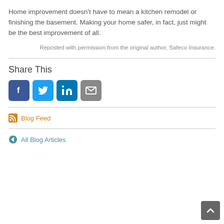Home improvement doesn’t have to mean a kitchen remodel or finishing the basement. Making your home safer, in fact, just might be the best improvement of all.
Reposted with permission from the original author, Safeco Insurance.
Share This
[Figure (other): Social sharing icons: Facebook, Twitter, LinkedIn, Email]
Blog Feed
All Blog Articles